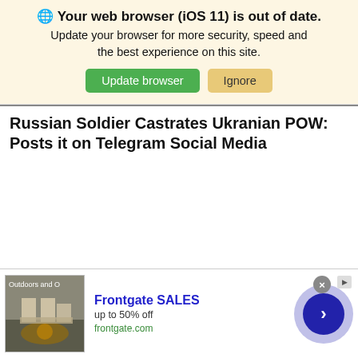🌐 Your web browser (iOS 11) is out of date. Update your browser for more security, speed and the best experience on this site. [Update browser] [Ignore]
Russian Soldier Castrates Ukranian POW: Posts it on Telegram Social Media
[Figure (screenshot): Advertisement banner for Frontgate SALES showing outdoor furniture with a fire pit, text 'Frontgate SALES up to 50% off frontgate.com', a close button, and a blue arrow navigation button]